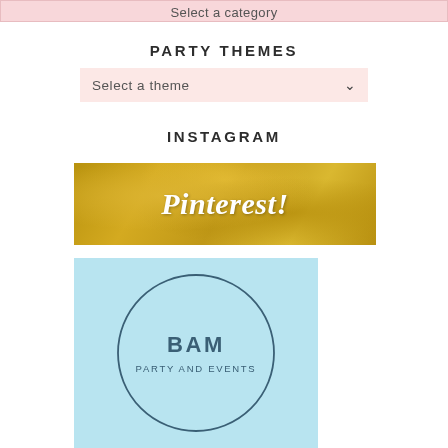Select a category
PARTY THEMES
Select a theme
INSTAGRAM
[Figure (illustration): Gold glitter textured banner with white italic script text reading 'Pinterest!']
[Figure (logo): Light blue square with circular border containing 'BAM' in bold and 'PARTY AND EVENTS' in small caps below, for BAM Party and Events brand logo]